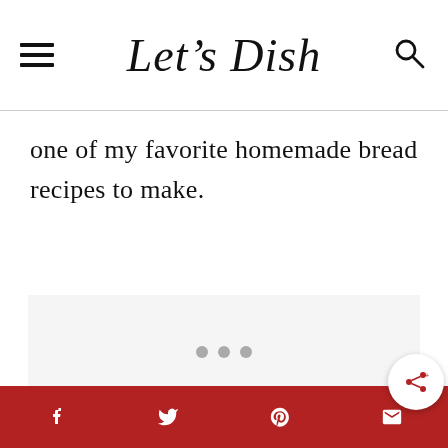Let's Dish
one of my favorite homemade bread recipes to make.
[Figure (other): Blank advertisement / content placeholder area with light gray background]
Social share bar with Facebook, Twitter, Pinterest, Email icons on red background